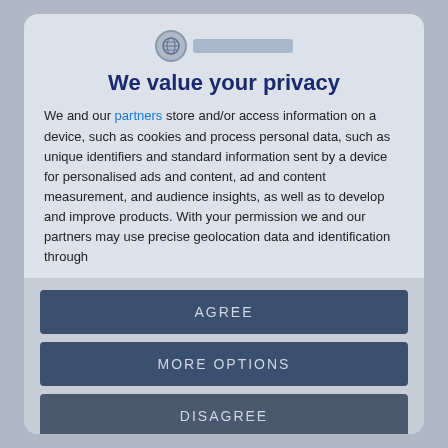[Figure (logo): Round globe/shield logo icon with a blurred text bar to the right]
We value your privacy
We and our partners store and/or access information on a device, such as cookies and process personal data, such as unique identifiers and standard information sent by a device for personalised ads and content, ad and content measurement, and audience insights, as well as to develop and improve products. With your permission we and our partners may use precise geolocation data and identification through
AGREE
MORE OPTIONS
DISAGREE